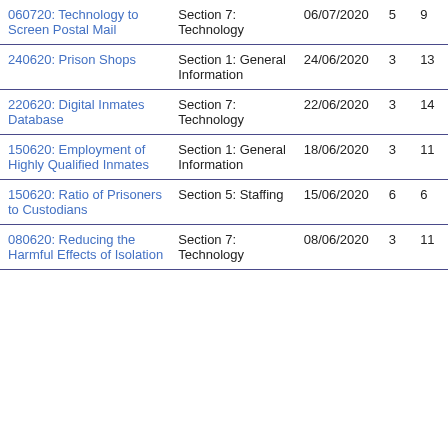| 060720: Technology to Screen Postal Mail | Section 7: Technology | 06/07/2020 | 5 | 9 |
| 240620: Prison Shops | Section 1: General Information | 24/06/2020 | 3 | 13 |
| 220620: Digital Inmates Database | Section 7: Technology | 22/06/2020 | 3 | 14 |
| 150620: Employment of Highly Qualified Inmates | Section 1: General Information | 18/06/2020 | 3 | 11 |
| 150620: Ratio of Prisoners to Custodians | Section 5: Staffing | 15/06/2020 | 6 | 6 |
| 080620: Reducing the Harmful Effects of Isolation | Section 7: Technology | 08/06/2020 | 3 | 11 |